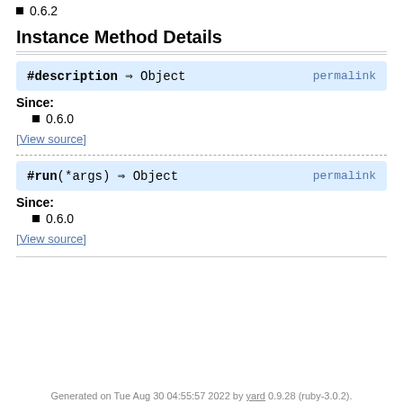0.6.2
Instance Method Details
#description ⇒ Object  permalink
Since:
0.6.0
[View source]
#run(*args) ⇒ Object  permalink
Since:
0.6.0
[View source]
Generated on Tue Aug 30 04:55:57 2022 by yard 0.9.28 (ruby-3.0.2).